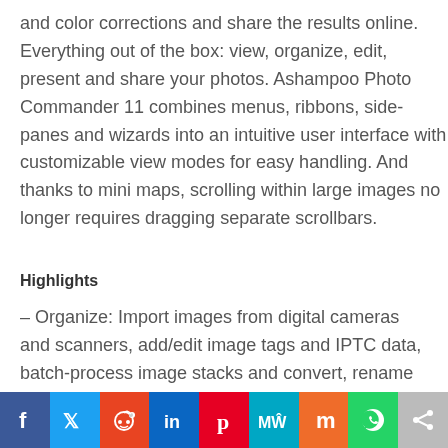and color corrections and share the results online. Everything out of the box: view, organize, edit, present and share your photos. Ashampoo Photo Commander 11 combines menus, ribbons, side-panes and wizards into an intuitive user interface with customizable view modes for easy handling. And thanks to mini maps, scrolling within large images no longer requires dragging separate scrollbars.
Highlights
– Organize: Import images from digital cameras and scanners, add/edit image tags and IPTC data, batch-process image stacks and convert, rename and re-date multiple files at once, perform move/copy/delete operations
– Edit: Use quick-fix tools to enhance and optimize contrast/color/skin settings, add and edit objects
[Figure (other): Social sharing bar with icons: Facebook, Twitter, Reddit, LinkedIn, Pinterest, MeWe, Mix, WhatsApp, Share]